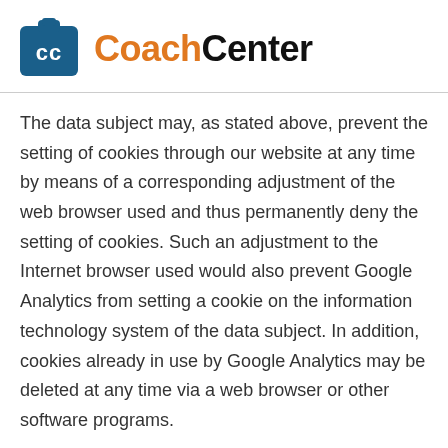CoachCenter
The data subject may, as stated above, prevent the setting of cookies through our website at any time by means of a corresponding adjustment of the web browser used and thus permanently deny the setting of cookies. Such an adjustment to the Internet browser used would also prevent Google Analytics from setting a cookie on the information technology system of the data subject. In addition, cookies already in use by Google Analytics may be deleted at any time via a web browser or other software programs.
In addition, the data subject has the possibility of objecting to a collection of data that are generated by Google Analytics, which is related to the use of this website, as well as the processing of this data by Google.